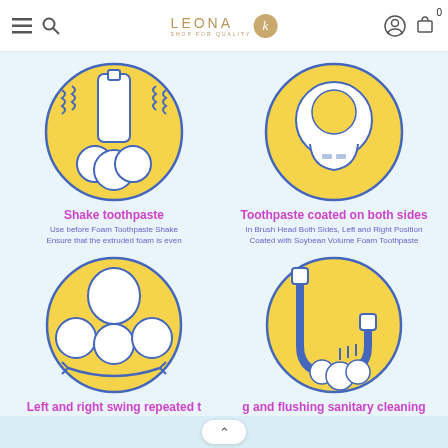LEONA K - SHOP FOR QUALITY
[Figure (illustration): Yellow circle with illustration of shaking toothpaste bottle with foam waves]
Shake toothpaste
Use before Foam Toothpaste Shake Ensure that the extruded foam is even
[Figure (illustration): Yellow circle with illustration of toothbrush being coated on both sides]
Toothpaste coated on both sides
In Brush Head Both Sides, Left and Right Position Coated with Soybean Volume Foam Toothpaste
[Figure (illustration): Yellow circle with illustration of mouth brushing teeth with left and right swing motion and arrows]
[Figure (illustration): Yellow circle with illustration of toothbrush being rinsed and flushed for sanitary cleaning]
Left and right swing repeated t
g and flushing sanitary cleaning